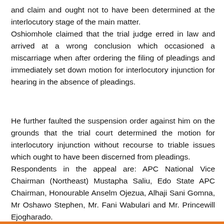and claim and ought not to have been determined at the interlocutory stage of the main matter. Oshiomhole claimed that the trial judge erred in law and arrived at a wrong conclusion which occasioned a miscarriage when after ordering the filing of pleadings and immediately set down motion for interlocutory injunction for hearing in the absence of pleadings.
He further faulted the suspension order against him on the grounds that the trial court determined the motion for interlocutory injunction without recourse to triable issues which ought to have been discerned from pleadings. Respondents in the appeal are: APC National Vice Chairman (Northeast) Mustapha Saliu, Edo State APC Chairman, Honourable Anselm Ojezua, Alhaji Sani Gomna, Mr Oshawo Stephen, Mr. Fani Wabulari and Mr. Princewill Ejogharado.